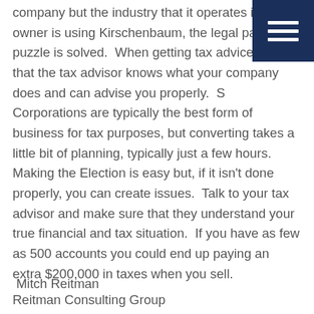[Figure (other): Dark navy blue navigation menu icon (hamburger menu) in top-right corner with three white horizontal lines]
company but the industry that it operates in. If owner is using Kirschenbaum, the legal part of puzzle is solved. When getting tax advice be sure that the tax advisor knows what your company does and can advise you properly. S Corporations are typically the best form of business for tax purposes, but converting takes a little bit of planning, typically just a few hours. Making the Election is easy but, if it isn't done properly, you can create issues. Talk to your tax advisor and make sure that they understand your true financial and tax situation. If you have as few as 500 accounts you could end up paying an extra $200,000 in taxes when you sell.
Mitch Reitman
Reitman Consulting Group